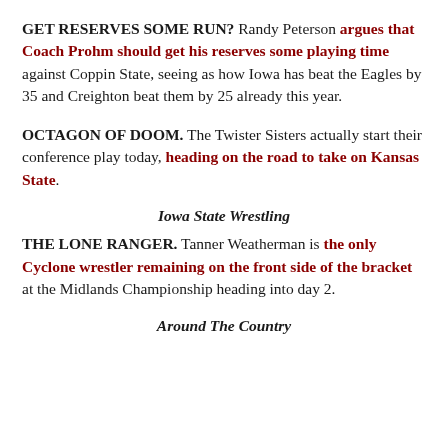GET RESERVES SOME RUN? Randy Peterson argues that Coach Prohm should get his reserves some playing time against Coppin State, seeing as how Iowa has beat the Eagles by 35 and Creighton beat them by 25 already this year.
OCTAGON OF DOOM. The Twister Sisters actually start their conference play today, heading on the road to take on Kansas State.
Iowa State Wrestling
THE LONE RANGER. Tanner Weatherman is the only Cyclone wrestler remaining on the front side of the bracket at the Midlands Championship heading into day 2.
Around The Country